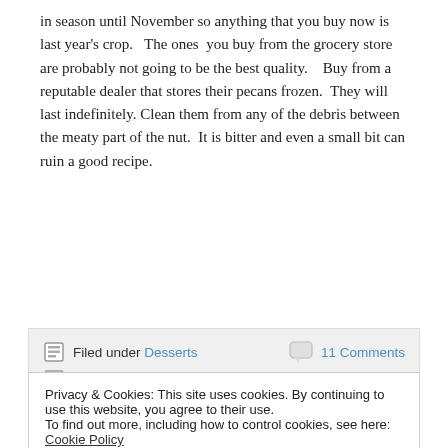in season until November so anything that you buy now is last year's crop.   The ones  you buy from the grocery store are probably not going to be the best quality.    Buy from a reputable dealer that stores their pecans frozen.  They will last indefinitely. Clean them from any of the debris between the meaty part of the nut.  It is bitter and even a small bit can ruin a good recipe.
Continue reading →
Filed under Desserts   11 Comments
Tagged as Butter Pecan, Dessert, frozen dessert, Gourmet Magazine, Ice Cream, Kitchenaid
Privacy & Cookies: This site uses cookies. By continuing to use this website, you agree to their use.
To find out more, including how to control cookies, see here: Cookie Policy
Close and accept